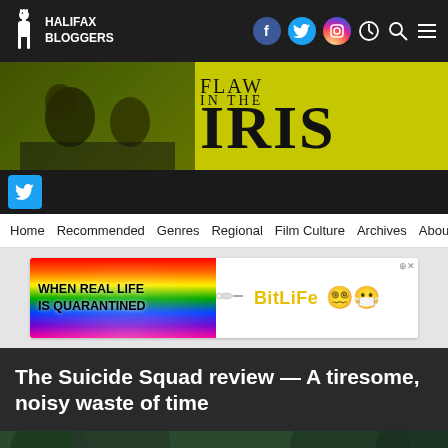Halifax Bloggers
[Figure (illustration): Flaw in the Iris banner with film scene background and title text]
[Figure (screenshot): Twitter icon square button]
Home  Recommended  Genres  Regional  Film Culture  Archives  About
[Figure (illustration): BitLife advertisement banner: When Real Life Is Quarantined]
The Suicide Squad review — A tiresome, noisy waste of time
[Figure (photo): Scene from The Suicide Squad movie showing characters in a jungle/outdoor setting]